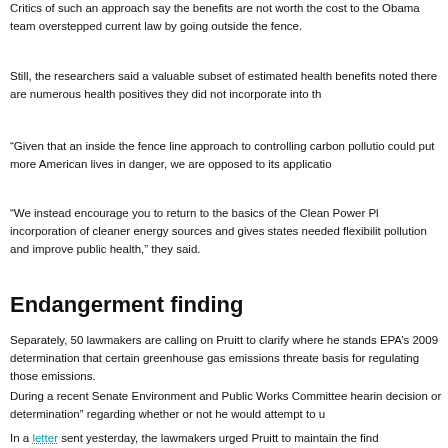Critics of such an approach say the benefits are not worth the cost to the Obama team overstepped current law by going outside the fence.
Still, the researchers said a valuable subset of estimated health benefits noted there are numerous health positives they did not incorporate into th
“Given that an inside the fence line approach to controlling carbon polluti could put more American lives in danger, we are opposed to its applicatio
“We instead encourage you to return to the basics of the Clean Power Pl incorporation of cleaner energy sources and gives states needed flexibilit pollution and improve public health,” they said.
Endangerment finding
Separately, 50 lawmakers are calling on Pruitt to clarify where he stands EPA’s 2009 determination that certain greenhouse gas emissions threate basis for regulating those emissions.
During a recent Senate Environment and Public Works Committee hearin decision or determination” regarding whether or not he would attempt to u
In a letter sent yesterday, the lawmakers urged Pruitt to maintain the find